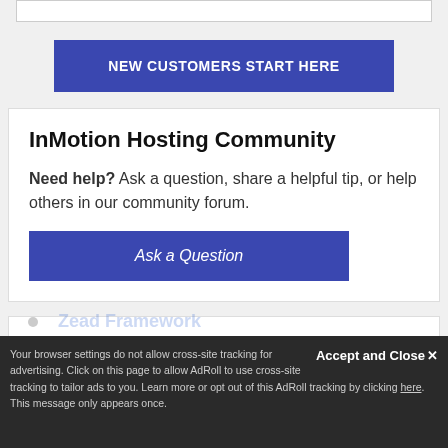[Figure (other): Top white bar element (partial UI)]
NEW CUSTOMERS START HERE
InMotion Hosting Community
Need help? Ask a question, share a helpful tip, or help others in our community forum.
Ask a Question
Website & Server Help Topics
Website Tutorials
Domain Names
Zend Framework
Accept and Close
Your browser settings do not allow cross-site tracking for advertising. Click on this page to allow AdRoll to use cross-site tracking to tailor ads to you. Learn more or opt out of this AdRoll tracking by clicking here. This message only appears once.